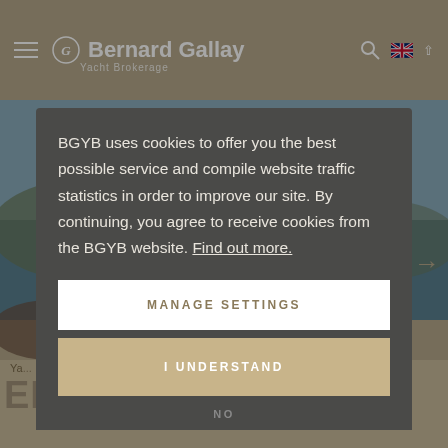[Figure (screenshot): Bernard Gallay Yacht Brokerage website header with logo, hamburger menu, search icon, and UK flag language selector. Background shows a Mediterranean coastal scene with water and buildings. Bottom shows 'ELISE WHISPER' yacht title in large text.]
BGYB uses cookies to offer you the best possible service and compile website traffic statistics in order to improve our site. By continuing, you agree to receive cookies from the BGYB website. Find out more.
MANAGE SETTINGS
I UNDERSTAND
NO